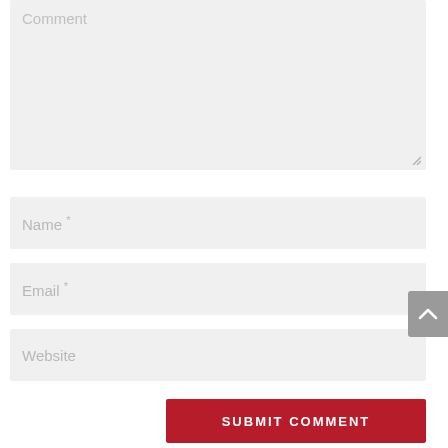[Figure (screenshot): Comment form with textarea labeled 'Comment', input fields for 'Name *', 'Email *', 'Website', a red 'SUBMIT COMMENT' button, and a gray scroll-to-top arrow button on the right.]